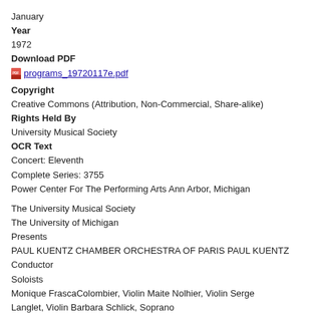January
Year
1972
Download PDF
programs_19720117e.pdf
Copyright
Creative Commons (Attribution, Non-Commercial, Share-alike)
Rights Held By
University Musical Society
OCR Text
Concert: Eleventh
Complete Series: 3755
Power Center For The Performing Arts Ann Arbor, Michigan
The University Musical Society
The University of Michigan
Presents
PAUL KUENTZ CHAMBER ORCHESTRA OF PARIS PAUL KUENTZ
Conductor
Soloists
Monique FrascaColombier, Violin Maite Nolhier, Violin Serge Langlet, Violin Barbara Schlick, Soprano
Annick Boulay, Violin JeanFranqois Dion, Trumpet
Monday Evening, January 17, 1972, at 8:00